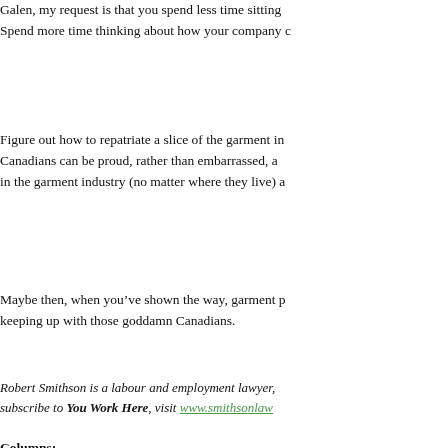Galen, my request is that you spend less time sitting... Spend more time thinking about how your company c...
Figure out how to repatriate a slice of the garment in... Canadians can be proud, rather than embarrassed, a... in the garment industry (no matter where they live) a...
Maybe then, when you've shown the way, garment p... keeping up with those goddamn Canadians.
Robert Smithson is a labour and employment lawyer,... subscribe to You Work Here, visit www.smithsonlaw...
Columns:
Labour & employment law column by Robert Smithso...
Printer-friendly version    Send by email
[Figure (logo): CloudCollective logo with green swoosh icon and company name, tagline 'The undisputed leader']